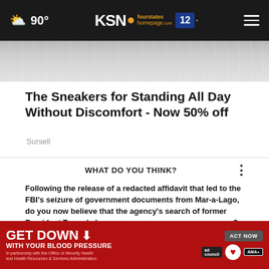90° KSN fourstates homepage.com 12
[Figure (photo): Close-up of white sneaker/shoe texture]
The Sneakers for Standing All Day Without Discomfort - Now 50% off
Sursell
WHAT DO YOU THINK?
Following the release of a redacted affidavit that led to the FBI's seizure of government documents from Mar-a-Lago, do you now believe that the agency's search of former President Trump's home was necessary or unnecessary?
Necessary
[Figure (infographic): GET DOWN WITH YOUR BLOOD PRESSURE advertisement banner with ACT NOW button, ad council, heart association and AMA logos]